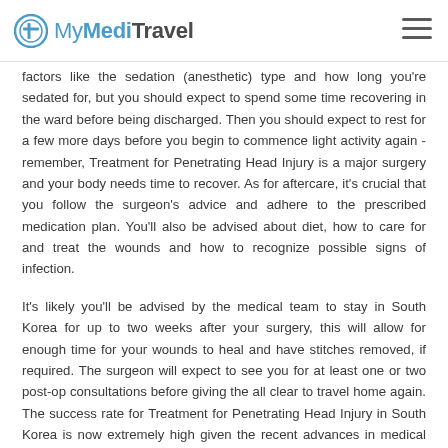MyMediTravel
factors like the sedation (anesthetic) type and how long you're sedated for, but you should expect to spend some time recovering in the ward before being discharged. Then you should expect to rest for a few more days before you begin to commence light activity again - remember, Treatment for Penetrating Head Injury is a major surgery and your body needs time to recover. As for aftercare, it's crucial that you follow the surgeon's advice and adhere to the prescribed medication plan. You'll also be advised about diet, how to care for and treat the wounds and how to recognize possible signs of infection.
It's likely you'll be advised by the medical team to stay in South Korea for up to two weeks after your surgery, this will allow for enough time for your wounds to heal and have stitches removed, if required. The surgeon will expect to see you for at least one or two post-op consultations before giving the all clear to travel home again. The success rate for Treatment for Penetrating Head Injury in South Korea is now extremely high given the recent advances in medical technology and surgeon experience. However, with any surgery, there is always the possibility of complications, such as infection, bleeding, numbness, swelling and scar tissue. But if yo